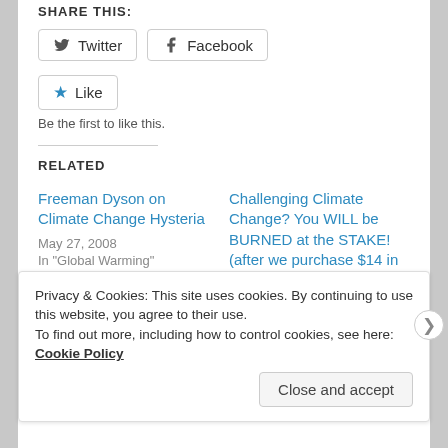SHARE THIS:
[Figure (screenshot): Social share buttons: Twitter and Facebook buttons with icons]
[Figure (screenshot): Like button with star icon]
Be the first to like this.
RELATED
Freeman Dyson on Climate Change Hysteria
May 27, 2008
In "Global Warming"
Challenging Climate Change? You WILL be BURNED at the STAKE! (after we purchase $14 in carbon credits,
Privacy & Cookies: This site uses cookies. By continuing to use this website, you agree to their use.
To find out more, including how to control cookies, see here: Cookie Policy